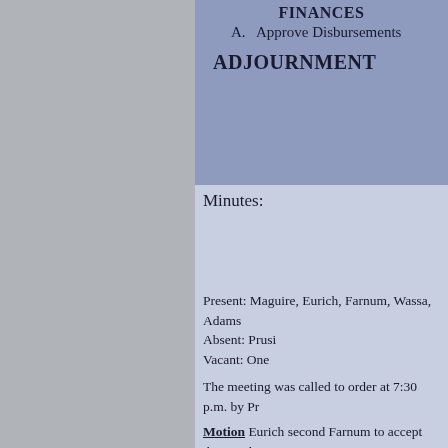FINANCES
A.   Approve Disbursements
ADJOURNMENT
Minutes:
Present: Maguire, Eurich, Farnum, Wassa, Adams
Absent: Prusi
Vacant: One
The meeting was called to order at 7:30 p.m. by Pr
Motion Eurich second Farnum to accept the Octob
Fire Chief Young reported that the department had
Police Chief Sherrod presented the monthly statist school as requested by Akron-Fairgrove School Su Dispatch.